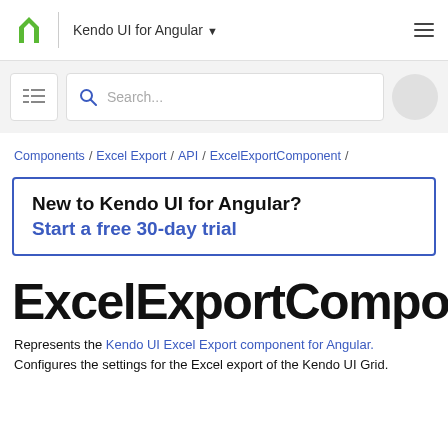Kendo UI for Angular
Components / Excel Export / API / ExcelExportComponent /
New to Kendo UI for Angular?
Start a free 30-day trial
ExcelExportComponent
Represents the Kendo UI Excel Export component for Angular. Configures the settings for the Excel export of the Kendo UI Grid.